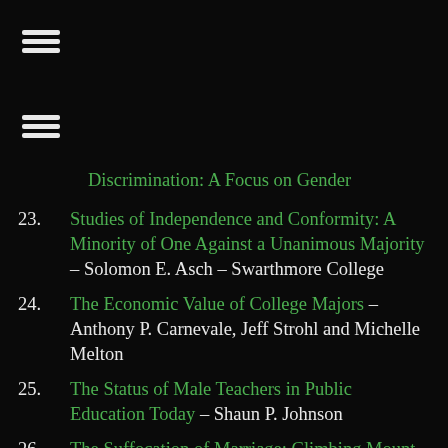[Figure (other): Hamburger menu icon (three horizontal lines) in white]
[Figure (other): Second hamburger menu icon (three horizontal lines) in white]
Discrimination: A Focus on Gender (partial, truncated at top)
23. Studies of Independence and Conformity: A Minority of One Against a Unanimous Majority – Solomon E. Asch – Swarthmore College
24. The Economic Value of College Majors – Anthony P. Carnevale, Jeff Strohl and Michelle Melton
25. The Status of Male Teachers in Public Education Today – Shaun P. Johnson
26. The Suffocation of Marriage: Climbing Mount Maslow Without Enough Oxygen – Eli J. Finkel, Department of Psychology and Department of Management and Organizations Northwestern University, Evanston, Illinois – Chin Ming Hui,